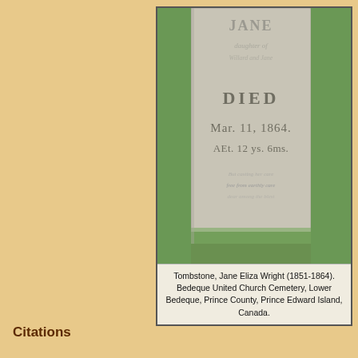[Figure (photo): Photograph of a tombstone for Jane Eliza Wright (1851-1864) at Bedeque United Church Cemetery, Lower Bedeque, Prince County, Prince Edward Island, Canada. The stone shows carved text including 'DIED', 'Mar. 11, 1864', and 'AEt. 12 ys. 6ms.' The stone is white/grey and sits in grass.]
Tombstone, Jane Eliza Wright (1851-1864). Bedeque United Church Cemetery, Lower Bedeque, Prince County, Prince Edward Island, Canada.
Citations